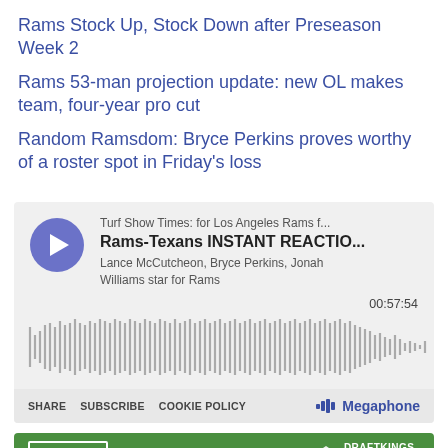Rams Stock Up, Stock Down after Preseason Week 2
Rams 53-man projection update: new OL makes team, four-year pro cut
Random Ramsdom: Bryce Perkins proves worthy of a roster spot in Friday's loss
[Figure (screenshot): Podcast player widget showing 'Rams-Texans INSTANT REACTIO...' episode from Turf Show Times for Los Angeles Rams, with waveform, time 00:57:54, and Megaphone branding]
[Figure (screenshot): DraftKings Sportsbook banner with 'Bet Now!' button and logo at top, with player comparison cells below]